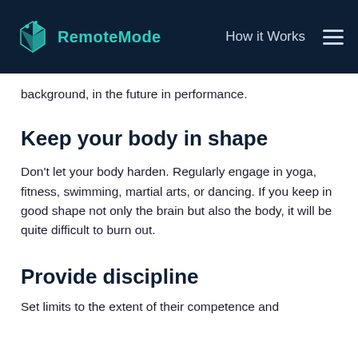RemoteMode — How it Works
background, in the future in performance.
Keep your body in shape
Don't let your body harden. Regularly engage in yoga, fitness, swimming, martial arts, or dancing. If you keep in good shape not only the brain but also the body, it will be quite difficult to burn out.
Provide discipline
Set limits to the extent of their competence and...